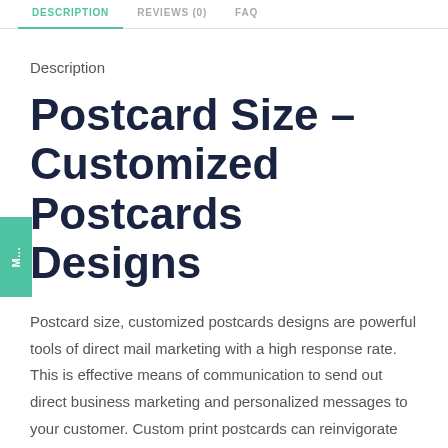DESCRIPTION | REVIEWS (0) | FAQ
Description
Postcard Size – Customized Postcards Designs
Postcard size, customized postcards designs are powerful tools of direct mail marketing with a high response rate. This is effective means of communication to send out direct business marketing and personalized messages to your customer. Custom print postcards can reinvigorate business marketing efforts without overspending. These can be mailed or hand out similanor flyers, leaflets, and brochures